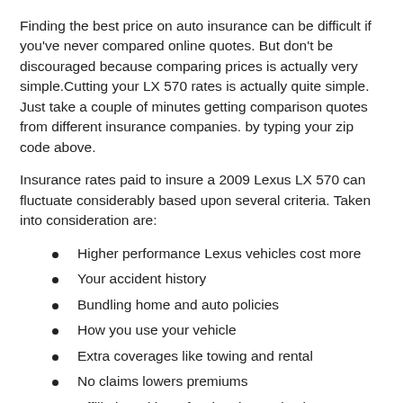Finding the best price on auto insurance can be difficult if you've never compared online quotes. But don't be discouraged because comparing prices is actually very simple.Cutting your LX 570 rates is actually quite simple. Just take a couple of minutes getting comparison quotes from different insurance companies. by typing your zip code above.
Insurance rates paid to insure a 2009 Lexus LX 570 can fluctuate considerably based upon several criteria. Taken into consideration are:
Higher performance Lexus vehicles cost more
Your accident history
Bundling home and auto policies
How you use your vehicle
Extra coverages like towing and rental
No claims lowers premiums
Affiliation with professional organizations